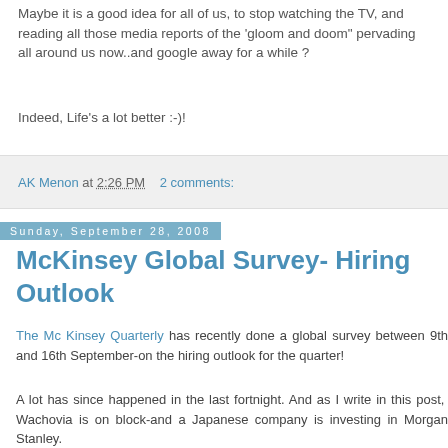Maybe it is a good idea for all of us, to stop watching the TV, and reading all those media reports of the 'gloom and doom" pervading all around us now..and google away for a while ?
Indeed, Life's a lot better :-)!
AK Menon at 2:26 PM    2 comments:
Sunday, September 28, 2008
McKinsey Global Survey- Hiring Outlook
The Mc Kinsey Quarterly has recently done a global survey between 9th and 16th September-on the hiring outlook for the quarter!
A lot has since happened in the last fortnight. And as I write in this post,  Wachovia is on block-and a Japanese company is investing in Morgan Stanley.